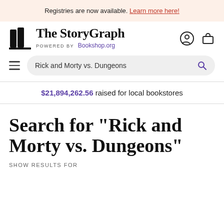Registries are now available. Learn more here!
The StoryGraph POWERED BY Bookshop.org
Rick and Morty vs. Dungeons
$21,894,262.56 raised for local bookstores
Search for "Rick and Morty vs. Dungeons"
SHOW RESULTS FOR